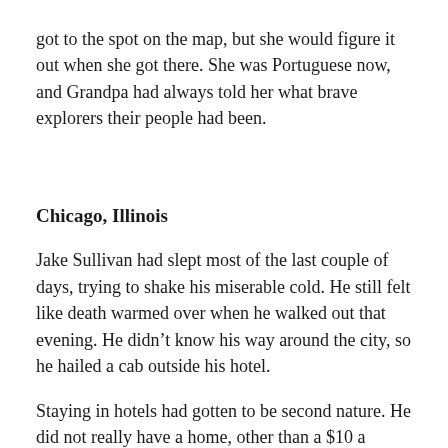got to the spot on the map, but she would figure it out when she got there. She was Portuguese now, and Grandpa had always told her what brave explorers their people had been.
Chicago, Illinois
Jake Sullivan had slept most of the last couple of days, trying to shake his miserable cold. He still felt like death warmed over when he walked out that evening. He didn't know his way around the city, so he hailed a cab outside his hotel.
Staying in hotels had gotten to be second nature. He did not really have a home, other than a $10 a month rented room on top of a diner in Detroit. It was a place to sleep, stash some guns, his library, and served as his office, not that he'd had many regular clients lately. The money was tight for everyone, even for wives who would normally want their husbands tailed